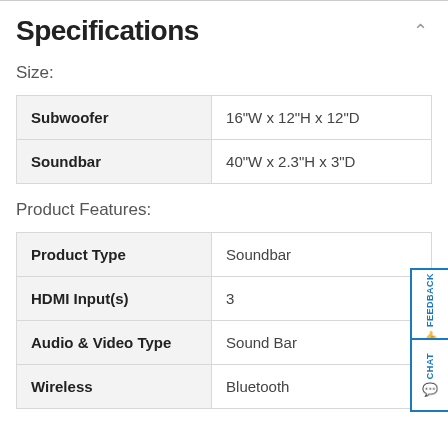Specifications
Size:
|  |  |
| --- | --- |
| Subwoofer | 16"W x 12"H x 12"D |
| Soundbar | 40"W x 2.3"H x 3"D |
Product Features:
|  |  |
| --- | --- |
| Product Type | Soundbar |
| HDMI Input(s) | 3 |
| Audio & Video Type | Sound Bar |
| Wireless | Bluetooth |